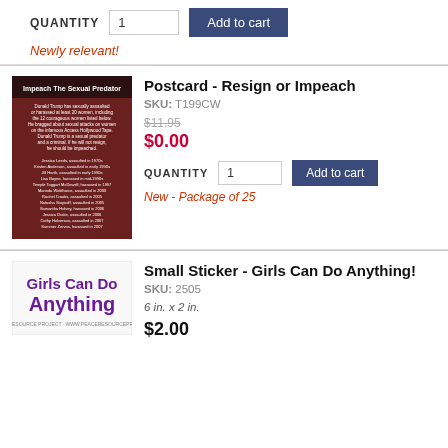QUANTITY 1   Add to cart
Newly relevant!
Postcard - Resign or Impeach
SKU: T199CW
$11.95  $0.00
QUANTITY 1   Add to cart
New - Package of 25
[Figure (photo): Postcard with brown/dark red background reading 'Impeach The Sexual Predator' with text about Donald Trump and a list of accusers]
Small Sticker - Girls Can Do Anything!
SKU: 2505
6 in. x 2 in.
$2.00
[Figure (photo): Sticker with purple text 'Girls Can Do Anything' on white background]